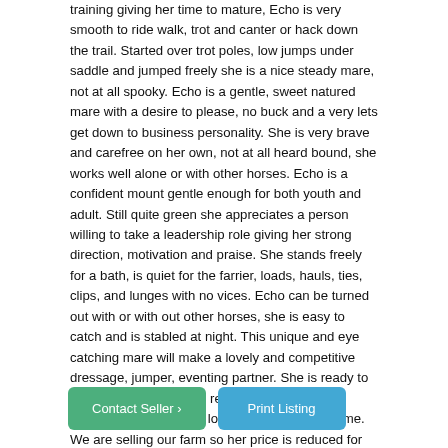training giving her time to mature, Echo is very smooth to ride walk, trot and canter or hack down the trail. Started over trot poles, low jumps under saddle and jumped freely she is a nice steady mare, not at all spooky. Echo is a gentle, sweet natured mare with a desire to please, no buck and a very lets get down to business personality. She is very brave and carefree on her own, not at all heard bound, she works well alone or with other horses. Echo is a confident mount gentle enough for both youth and adult. Still quite green she appreciates a person willing to take a leadership role giving her strong direction, motivation and praise. She stands freely for a bath, is quiet for the farrier, loads, hauls, ties, clips, and lunges with no vices. Echo can be turned out with or with out other horses, she is easy to catch and is stabled at night. This unique and eye catching mare will make a lovely and competitive dressage, jumper, eventing partner. She is ready to begin a serious training regime in what ever direction desired  while looking for a forever home. We are selling our farm so her price is reduced for quick sale. We are sorry to let such a talented mare go.
Contact Seller ›
Print Listing